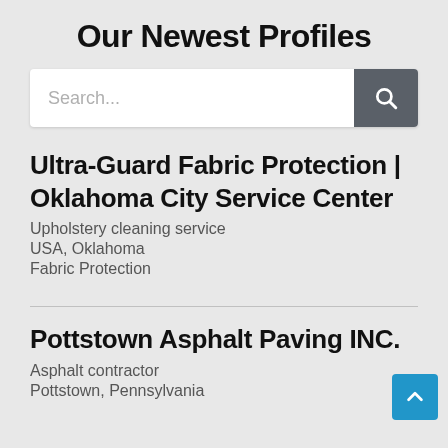Our Newest Profiles
[Figure (screenshot): Search bar with text input area showing placeholder 'Search...' and a dark grey search button with magnifying glass icon]
Ultra-Guard Fabric Protection | Oklahoma City Service Center
Upholstery cleaning service
USA, Oklahoma
Fabric Protection
Pottstown Asphalt Paving INC.
Asphalt contractor
Pottstown, Pennsylvania